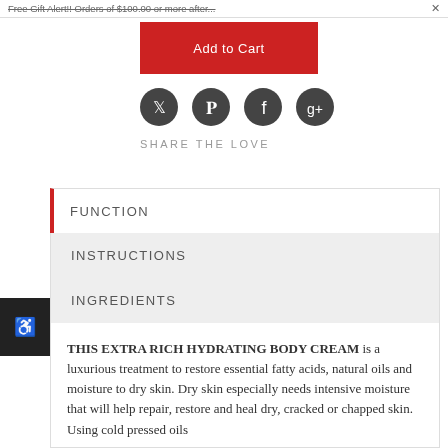Free Gift Alert!! Orders of $100.00 or more after... X
[Figure (other): Red Add to Cart button]
[Figure (other): Social media icons: Twitter, Pinterest, Facebook, Google+]
SHARE THE LOVE
FUNCTION
INSTRUCTIONS
INGREDIENTS
THIS EXTRA RICH HYDRATING BODY CREAM is a luxurious treatment to restore essential fatty acids, natural oils and moisture to dry skin. Dry skin especially needs intensive moisture that will help repair, restore and heal dry, cracked or chapped skin. Using cold pressed oils...